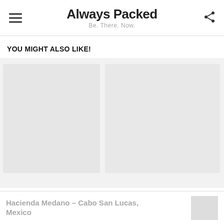Always Packed — Be. There. Now.
YOU MIGHT ALSO LIKE!
[Figure (screenshot): Greyed-out thumbnail images of related articles in a 'You Might Also Like' section, with a view count bar showing 28.7k Views and a CLOSE button.]
28.7k Views
CLOSE
Hacienda Medano – Cabo San Lucas, Mexico